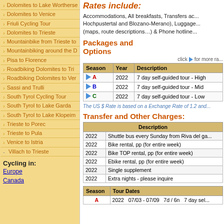Dolomites to Lake Wortherse
Dolomites to Venice
Friuli Cycling Tour
Dolomites to Trieste
Mountainbike from Trieste to...
Mountainbiking around the D...
Pisa to Florence
Roadbiking Dolomites to Tri...
Roadbiking Dolomites to Ver...
Sassi and Trulli
South Tyrol Cycling Tour
South Tyrol to Lake Garda
South Tyrol to Lake Klopeim...
Trieste to Porec
Trieste to Pula
Venice to Istria
Villach to Trieste
Cycling in:
Europe
Canada
Rates include:
Accommodations, All breakfasts, Transfers ac... Hochpustertal and Blozano-Merano), Luggage... (maps, route descriptions…) & Phone hotline...
Packages and Options
click ▶ for more ra...
| Season | Year | Description |
| --- | --- | --- |
| ▶ A | 2022 | 7 day self-guided tour - High |
| ▶ B | 2022 | 7 day self-guided tour - Mid |
| ▶ C | 2022 | 7 day self-guided tour - Low |
The US $ Rate is based on a Exchange Rate of 1.2 and...
Transfer and Other Charges:
|  | Description |
| --- | --- |
| 2022 | Shuttle bus every Sunday from Riva del ga... |
| 2022 | Bike rental, pp (for entire week) |
| 2022 | Bike TOP rental, pp (for entire week) |
| 2022 | Ebike rental, pp (for entire week) |
| 2022 | Single supplement |
| 2022 | Extra nights - please inquire |
| Season | Tour Dates |
| --- | --- |
| A | 2022  07/03 - 07/09  7d / 6n  7 day sel... |